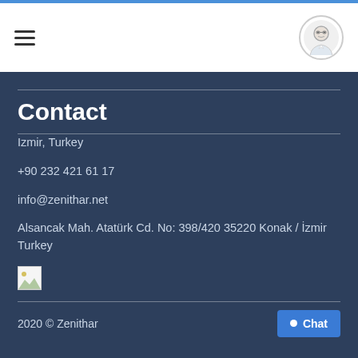Navigation header with hamburger menu and avatar icon
Contact
Izmir, Turkey
+90 232 421 61 17
info@zenithar.net
Alsancak Mah. Atatürk Cd. No: 398/420 35220 Konak / İzmir Turkey
[Figure (other): Broken/loading image placeholder]
2020 © Zenithar